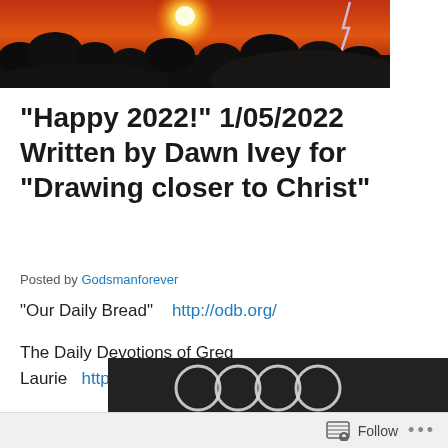[Figure (photo): Header photo of a dramatic sunset/storm sky with silhouetted trees, glowing orange-red sky, bright sun, and lightning bolt on the right]
“Happy 2022!” 1/05/2022 Written by Dawn Ivey for “Drawing closer to Christ”
Posted by Godsmanforever
“Our Daily Bread”    http://odb.org/
The Daily Devotions of Greg Laurie    http://www.harvest.org/devotional
[Figure (photo): Partial bottom image showing dark background with white circular/ring shapes, partially visible]
Follow  •••